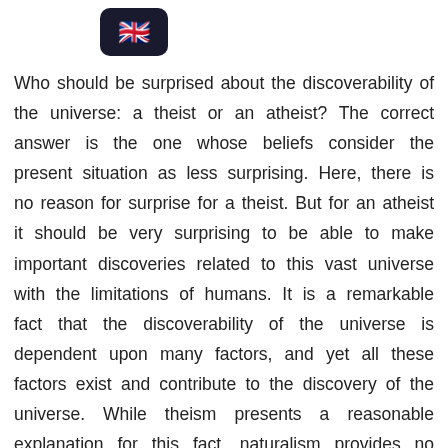[Figure (other): UK flag emoji icon displayed in a dark rounded rectangle]
Who should be surprised about the discoverability of the universe: a theist or an atheist? The correct answer is the one whose beliefs consider the present situation as less surprising. Here, there is no reason for surprise for a theist. But for an atheist it should be very surprising to be able to make important discoveries related to this vast universe with the limitations of humans. It is a remarkable fact that the discoverability of the universe is dependent upon many factors, and yet all these factors exist and contribute to the discovery of the universe. While theism presents a reasonable explanation for this fact, naturalism provides no explanation.[28]